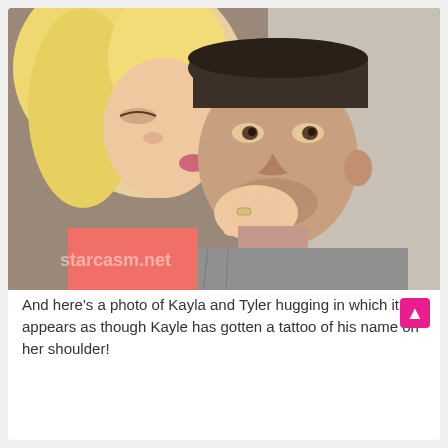[Figure (photo): A couple in a close selfie pose. A blonde woman is kissing a man on the cheek/jaw area while holding his chin with her hand. The man is wearing a dark baseball cap and a grey top. The woman appears to have a ring on her finger. A starcasm.net watermark is visible.]
And here's a photo of Kayla and Tyler hugging in which it appears as though Kayle has gotten a tattoo of his name on her shoulder!